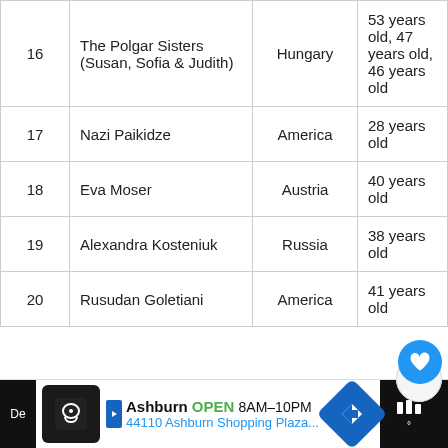| # | Name | Country | Age |
| --- | --- | --- | --- |
| 16 | The Polgar Sisters (Susan, Sofia & Judith) | Hungary | 53 years old, 47 years old, 46 years old |
| 17 | Nazi Paikidze | America | 28 years old |
| 18 | Eva Moser | Austria | 40 years old |
| 19 | Alexandra Kosteniuk | Russia | 38 years old |
| 20 | Rusudan Goletiani | America | 41 years old |
19. Rusudan Goletiani